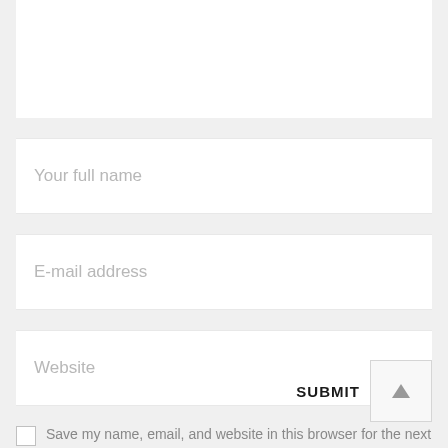[Figure (screenshot): A web form showing three input fields (Your full name, E-mail address, Website), a checkbox with label 'Save my name, email, and website in this browser for the next time I comment.', a SUBMIT button, and an up-arrow scroll button. The form has a light gray background with white input fields.]
Your full name
E-mail address
Website
Save my name, email, and website in this browser for the next time I comment.
SUBMIT